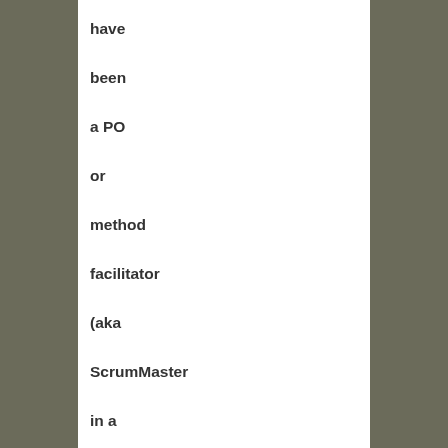have been a PO or method facilitator (aka ScrumMaster in a Scrum project) – you are just required to have been working in a (agile) project.